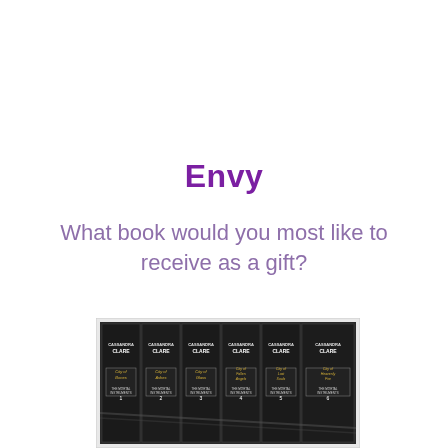Envy
What book would you most like to receive as a gift?
[Figure (photo): A boxed set of six Cassandra Clare 'The Mortal Instruments' books displayed side by side, showing spines: City of Bones, City of Ashes, City of Glass, City of Fallen Angels, City of Lost Souls, City of Heavenly Fire. Black and white detailed illustrated covers.]